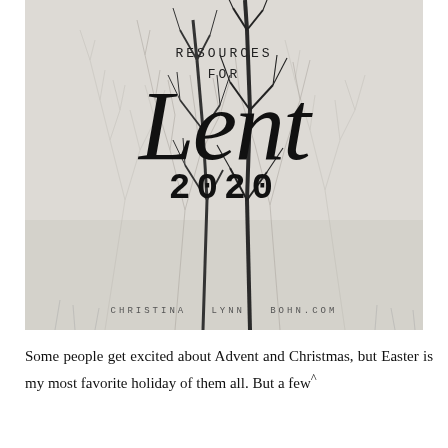[Figure (photo): Black and white photograph of bare winter trees with text overlay reading 'RESOURCES FOR Lent 2020' and 'CHRISTINA LYNN BOHN.COM' at the bottom]
Some people get excited about Advent and Christmas, but Easter is my most favorite holiday of them all. But a few years ago I noticed that the election to give up Easter felt